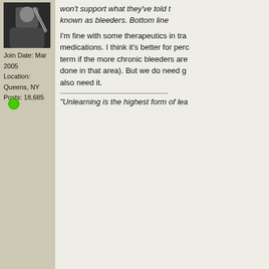[Figure (photo): User avatar photo showing a person, partially cropped]
Join Date: Mar 2005
Location: Queens, NY
Posts: 18,685
I'm fine with some therapeutics in training medications. I think it's better for performance term if the more chronic bleeders are done in that area). But we do need g also need it.
"Unlearning is the highest form of lea
05-22-2022, 12:27 PM
biggestal99 VIP
Registered User
Join Date: Feb 2014
Posts: 4,460
Quote:
Originally Posted by TonyK@H
I get your post Andy and thank y about the welfare of the horse o Each horse is different and coul times. Very difficult to predict ev When bettors wager today on h day, was there trouble during the Gamblers will have fun answerin
all over the world, horses run without
Allan